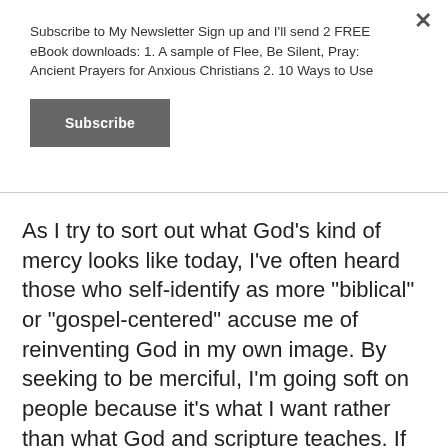Subscribe to My Newsletter Sign up and I'll send 2 FREE eBook downloads: 1. A sample of Flee, Be Silent, Pray: Ancient Prayers for Anxious Christians 2. 10 Ways to Use
Subscribe
As I try to sort out what God’s kind of mercy looks like today, I’ve often heard those who self-identify as more “biblical” or “gospel-centered” accuse me of reinventing God in my own image. By seeking to be merciful, I’m going soft on people because it’s what I want rather than what God and scripture teaches. If God had his way with me, I’d go around shoving the faces of sinners into the chapter and verse for everything